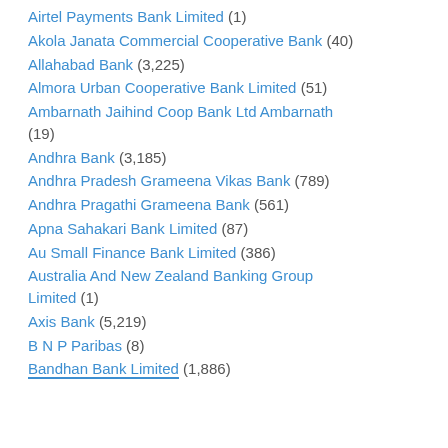Airtel Payments Bank Limited (1)
Akola Janata Commercial Cooperative Bank (40)
Allahabad Bank (3,225)
Almora Urban Cooperative Bank Limited (51)
Ambarnath Jaihind Coop Bank Ltd Ambarnath (19)
Andhra Bank (3,185)
Andhra Pradesh Grameena Vikas Bank (789)
Andhra Pragathi Grameena Bank (561)
Apna Sahakari Bank Limited (87)
Au Small Finance Bank Limited (386)
Australia And New Zealand Banking Group Limited (1)
Axis Bank (5,219)
B N P Paribas (8)
Bandhan Bank Limited (1,886)